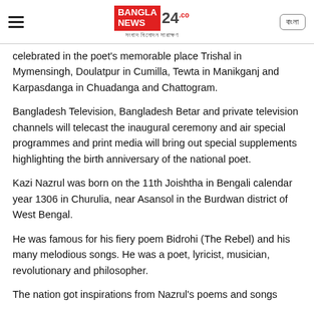BANGLA NEWS 24 | সংবাদ বিনোদন সারাক্ষণ
celebrated in the poet's memorable place Trishal in Mymensingh, Doulatpur in Cumilla, Tewta in Manikganj and Karpasdanga in Chuadanga and Chattogram.
Bangladesh Television, Bangladesh Betar and private television channels will telecast the inaugural ceremony and air special programmes and print media will bring out special supplements highlighting the birth anniversary of the national poet.
Kazi Nazrul was born on the 11th Joishtha in Bengali calendar year 1306 in Churulia, near Asansol in the Burdwan district of West Bengal.
He was famous for his fiery poem Bidrohi (The Rebel) and his many melodious songs. He was a poet, lyricist, musician, revolutionary and philosopher.
The nation got inspirations from Nazrul's poems and songs